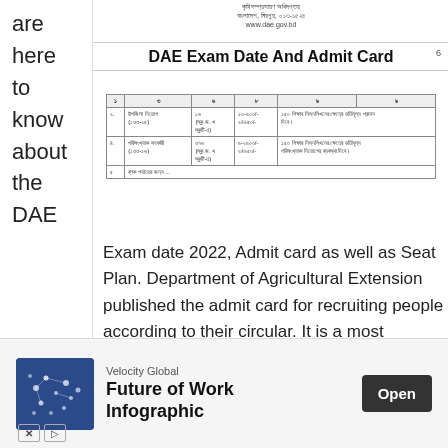DAE Exam Date And Admit Card - header area with Bangla text and www.dae.gov.bd
DAE Exam Date And Admit Card
[Figure (table-as-image): Scanned table in Bengali showing DAE exam schedule with columns for serial, post name, number of posts, salary scale, and remarks. Rows include entries for positions like Upazila Agriculture Officer and related posts.]
are here to know about the DAE Exam date 2022, Admit card as well as Seat Plan. Department of Agricultural Extension published the admit card for recruiting people according to their circular. It is a most promising job circular by DAE A lot of candidates applied for different posts in the DAE circular. They [...]
[Figure (infographic): Advertisement banner: Velocity Global - Future of Work Infographic, with Open button, blue world map image, and X and play icons at bottom left.]